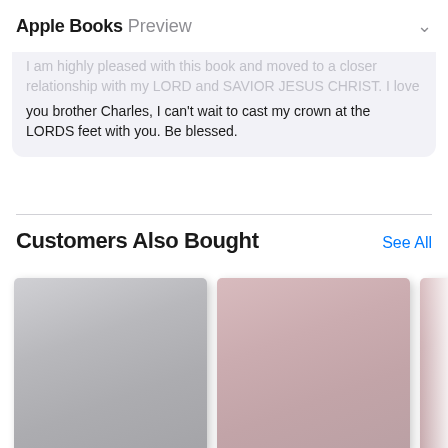Apple Books Preview
I am highly pleased with this book and moved to a closer relationship with my LORD and SAVIOR JESUS CHRIST. I love you brother Charles, I can't wait to cast my crown at the LORDS feet with you. Be blessed.
Customers Also Bought
[Figure (photo): Two book covers side by side in a 'Customers Also Bought' section of Apple Books. Left cover is gray/silver, right cover is dusty pink/rose.]